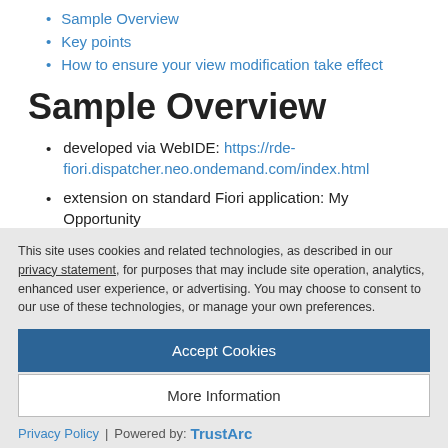Sample Overview
Key points
How to ensure your view modification take effect
Sample Overview
developed via WebIDE: https://rde-fiori.dispatcher.neo.ondemand.com/index.html
extension on standard Fiori application: My Opportunity
This site uses cookies and related technologies, as described in our privacy statement, for purposes that may include site operation, analytics, enhanced user experience, or advertising. You may choose to consent to our use of these technologies, or manage your own preferences.
Accept Cookies
More Information
Privacy Policy | Powered by: TrustArc